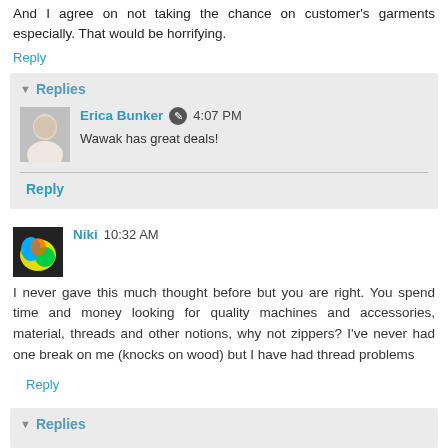And I agree on not taking the chance on customer's garments especially. That would be horrifying.
Reply
Replies
Erica Bunker  4:07 PM
Wawak has great deals!
Reply
Niki  10:32 AM
I never gave this much thought before but you are right. You spend time and money looking for quality machines and accessories, material, threads and other notions, why not zippers? I've never had one break on me (knocks on wood) but I have had thread problems
Reply
Replies